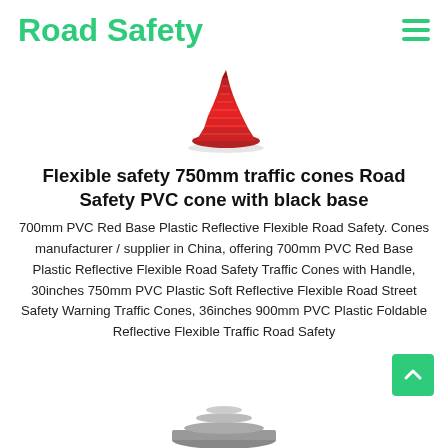Road Safety
[Figure (photo): Red traffic cone with ribbed top and wide flat base, viewed from front-side angle against white background]
Flexible safety 750mm traffic cones Road Safety PVC cone with black base
700mm PVC Red Base Plastic Reflective Flexible Road Safety. Cones manufacturer / supplier in China, offering 700mm PVC Red Base Plastic Reflective Flexible Road Safety Traffic Cones with Handle, 30inches 750mm PVC Plastic Soft Reflective Flexible Road Street Safety Warning Traffic Cones, 36inches 900mm PVC Plastic Foldable Reflective Flexible Traffic Road Safety
[Figure (photo): Bottom portion of another traffic cone product, partially visible at bottom of page]